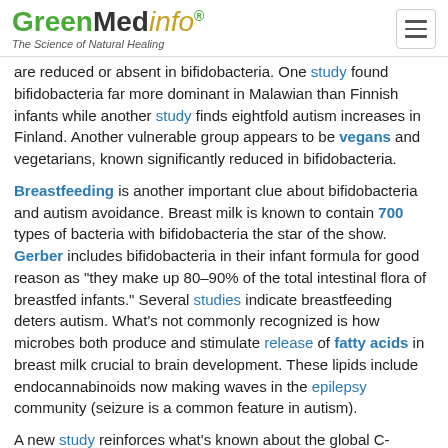GreenMedInfo — The Science of Natural Healing
are reduced or absent in bifidobacteria. One study found bifidobacteria far more dominant in Malawian than Finnish infants while another study finds eightfold autism increases in Finland. Another vulnerable group appears to be vegans and vegetarians, known significantly reduced in bifidobacteria.
Breastfeeding is another important clue about bifidobacteria and autism avoidance. Breast milk is known to contain 700 types of bacteria with bifidobacteria the star of the show. Gerber includes bifidobacteria in their infant formula for good reason as "they make up 80–90% of the total intestinal flora of breastfed infants." Several studies indicate breastfeeding deters autism. What's not commonly recognized is how microbes both produce and stimulate release of fatty acids in breast milk crucial to brain development. These lipids include endocannabinoids now making waves in the epilepsy community (seizure is a common feature in autism).
A new study reinforces what's known about the global C-section epidemic and neurodevelopmental problems including autism. A third of women give birth by C-section in the USA,